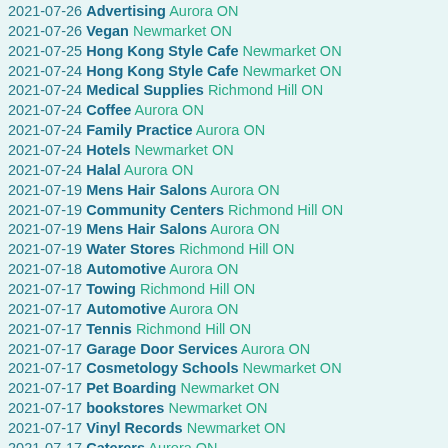2021-07-26 Advertising Aurora ON
2021-07-26 Vegan Newmarket ON
2021-07-25 Hong Kong Style Cafe Newmarket ON
2021-07-24 Hong Kong Style Cafe Newmarket ON
2021-07-24 Medical Supplies Richmond Hill ON
2021-07-24 Coffee Aurora ON
2021-07-24 Family Practice Aurora ON
2021-07-24 Hotels Newmarket ON
2021-07-24 Halal Aurora ON
2021-07-19 Mens Hair Salons Aurora ON
2021-07-19 Community Centers Richmond Hill ON
2021-07-19 Mens Hair Salons Aurora ON
2021-07-19 Water Stores Richmond Hill ON
2021-07-18 Automotive Aurora ON
2021-07-17 Towing Richmond Hill ON
2021-07-17 Automotive Aurora ON
2021-07-17 Tennis Richmond Hill ON
2021-07-17 Garage Door Services Aurora ON
2021-07-17 Cosmetology Schools Newmarket ON
2021-07-17 Pet Boarding Newmarket ON
2021-07-17 bookstores Newmarket ON
2021-07-17 Vinyl Records Newmarket ON
2021-07-17 Caterers Aurora ON